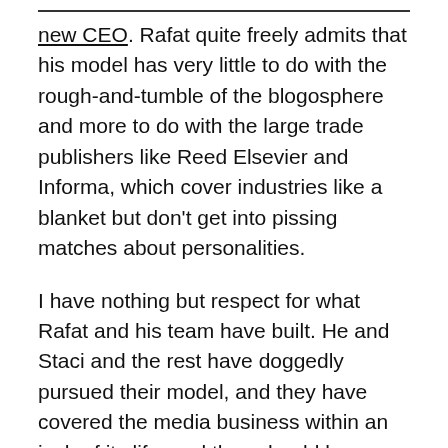new CEO. Rafat quite freely admits that his model has very little to do with the rough-and-tumble of the blogosphere and more to do with the large trade publishers like Reed Elsevier and Informa, which cover industries like a blanket but don't get into pissing matches about personalities.
I have nothing but respect for what Rafat and his team have built. He and Staci and the rest have doggedly pursued their model, and they have covered the media business within an inch of its life, and they should be congratulated for that. I think Rafat is totally right when he says he is going after the big trade publishers, and I have no doubt that one or the other of them will eventually come to their senses and just buy the operation outright, or Rafat might just buy them.
But I also find that PaidContent.org isn't that… well,